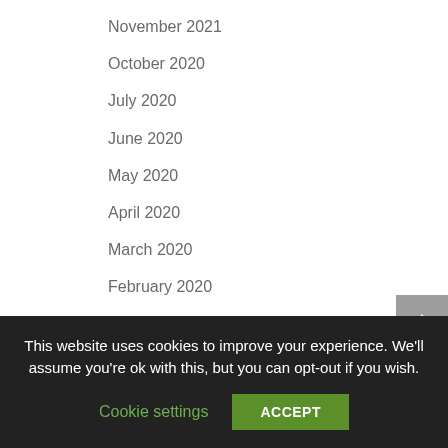November 2021
October 2020
July 2020
June 2020
May 2020
April 2020
March 2020
February 2020
January 2020
December 2019
Categories
This website uses cookies to improve your experience. We'll assume you're ok with this, but you can opt-out if you wish.
Cookie settings  ACCEPT